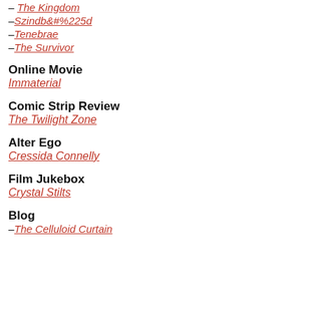– The Kingdom
– Szindbád
– Tenebrae
– The Survivor
Online Movie
Immaterial
Comic Strip Review
The Twilight Zone
Alter Ego
Cressida Connelly
Film Jukebox
Crystal Stilts
Blog
–The Celluloid Curtain